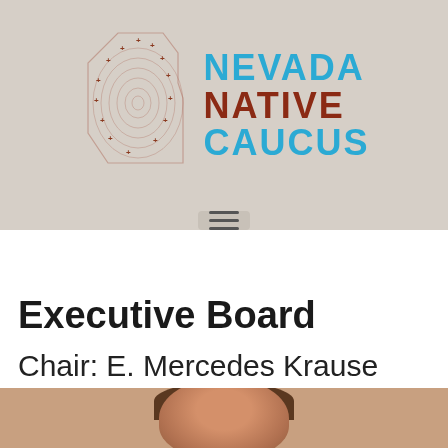[Figure (logo): Nevada Native Caucus logo: stylized Nevada state shape with concentric lines and plus signs, alongside bold text reading NEVADA NATIVE CAUCUS in blue and dark red colors]
[Figure (illustration): Hamburger menu icon (three horizontal lines) on a gray rounded rectangle background]
Executive Board
Chair: E. Mercedes Krause
[Figure (photo): Partial photo showing the top of a person's head with brown hair, cropped at the bottom of the page]